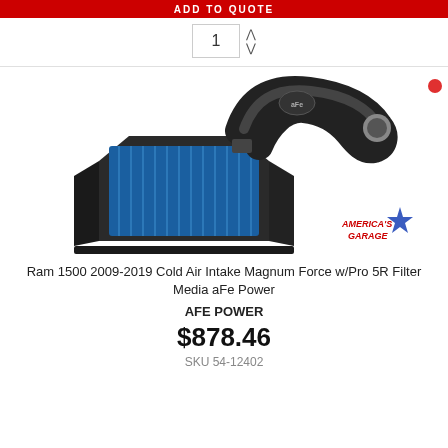ADD TO QUOTE
1
[Figure (photo): Cold air intake system with a black heat shield box, blue filter element, and black aluminum intake tube with aFe Power logo. America's Garage watermark logo in lower right.]
Ram 1500 2009-2019 Cold Air Intake Magnum Force w/Pro 5R Filter Media aFe Power
AFE POWER
$878.46
SKU 54-12402